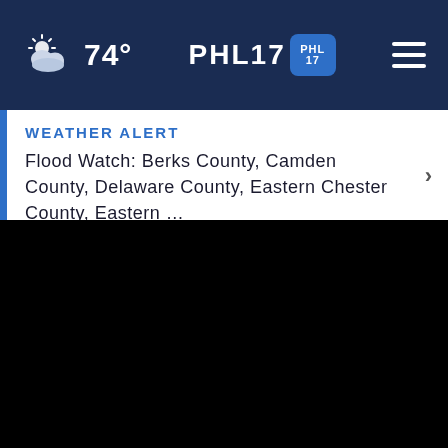74° PHL17
WEATHER ALERT
Flood Watch: Berks County, Camden County, Delaware County, Eastern Chester County, Eastern …